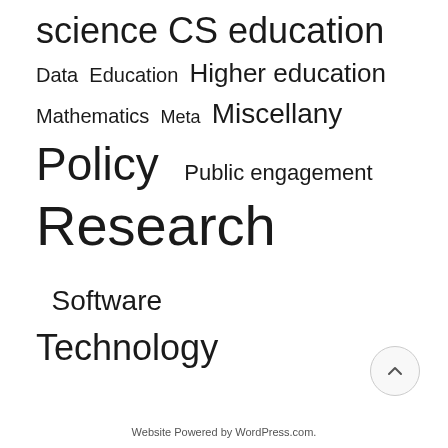science CS education Data Education Higher education Mathematics Meta Miscellany Policy Public engagement Research Software Technology
[Figure (other): Back to top button — circular button with upward caret arrow]
Website Powered by WordPress.com.